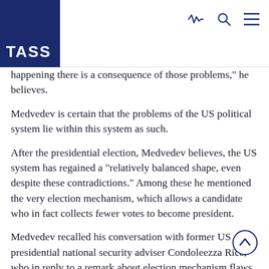TASS
happening there is a consequence of those problems," he believes.
Medvedev is certain that the problems of the US political system lie within this system as such.
After the presidential election, Medvedev believes, the US system has regained a "relatively balanced shape, even despite these contradictions." Among these he mentioned the very election mechanism, which allows a candidate who in fact collects fewer votes to become president.
Medvedev recalled his conversation with former US presidential national security adviser Condoleezza Rice, who in reply to a remark about election mechanism flaws said it remained unchanged for 200 years: "You know, we are used to this system and we think it's a good one."